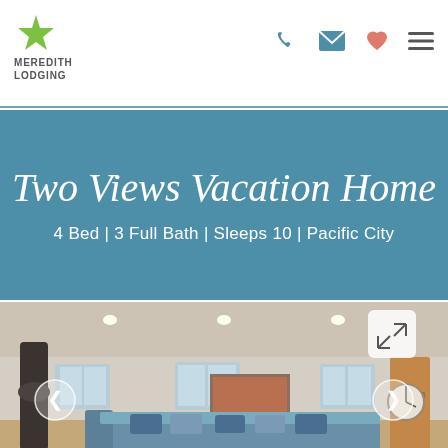MEREDITH LODGING
Two Views Vacation Home
4 Bed | 3 Full Bath | Sleeps 10 | Pacific City
[Figure (photo): Interior living room of vacation home with blue sectional sofa, decorative pillows, wood-burning stove, recessed lighting, windows, artwork on wall, and clock]